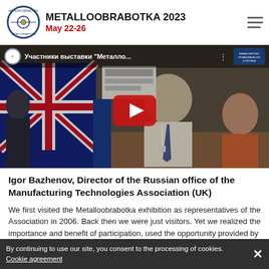METALLOOBRABOTKA 2023 | May 22-26
[Figure (screenshot): YouTube video thumbnail showing exhibition hall scene with UK flag backdrop, man in white shirt and tie, video title: Участники выставки 'Металло...' with YouTube play button overlay]
Igor Bazhenov, Director of the Russian office of the Manufacturing Technologies Association (UK)
We first visited the Metalloobrabotka exhibition as representatives of the Association in 2006. Back then we were just visitors. Yet we realized the importance and benefit of participation, used the opportunity provided by
By continuing to use our site, you consent to the processing of cookies. Cookie agreement